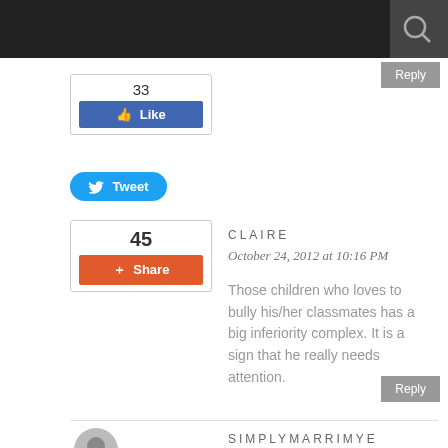[Figure (screenshot): Dark top navigation bar with search icon]
[Figure (other): Reply button (gray) top right]
[Figure (other): Facebook Like widget showing 33 likes]
[Figure (other): Tweet button (blue)]
[Figure (other): Share widget showing 45 shares]
CLAIRE
October 24, 2012 at 10:16 PM
Those children who loves to bully his/her classmates has a big inferiority complex. It is a sign that he really needs attention.
[Figure (other): Reply button (gray) bottom right]
SIMPLYMARRIMYE